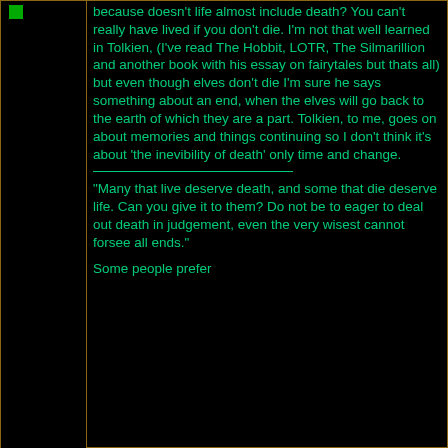because doesn't life almost include death? You can't really have lived if you don't die. I'm not that well learned in Tolkien, (I've read The Hobbit, LOTR, The Silmarillion and another book with his essay on fairytales but thats all) but even though elves don't die I'm sure he says something about an end, when the elves will go back to the earth of which they are a part. Tolkien, to me, goes on about memories and things continuing so I don't think it's about 'the inevibility of death' only time and change.
"Many that live deserve death, and some that die deserve life. Can you give it to them? Do not be to eager to deal out death in judgement, even the very wisest cannot forsee all ends."
Some people prefer